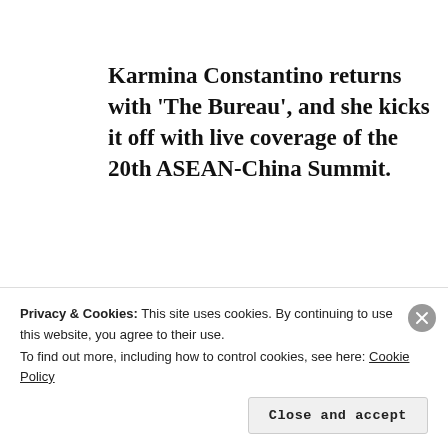Karmina Constantino returns with 'The Bureau', and she kicks it off with live coverage of the 20th ASEAN-China Summit.
[Figure (screenshot): Embedded tweet from ABS-CBN News (@ANCALE...) with Twitter bird logo, verified badge, Follow button, tweet text 'NOW on ANC: 20th ASEAN-China Summit #ASEAN2017', and a partial image thumbnail below.]
Privacy & Cookies: This site uses cookies. By continuing to use this website, you agree to their use. To find out more, including how to control cookies, see here: Cookie Policy
Close and accept